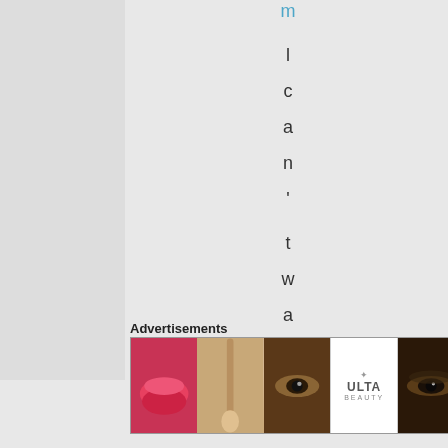m l c a n , t w a i t f o
Advertisements
[Figure (illustration): Advertisement banner showing beauty/makeup products including lips, makeup brush, eye makeup, Ulta Beauty logo, eyes with smoky makeup, and Shop Now button]